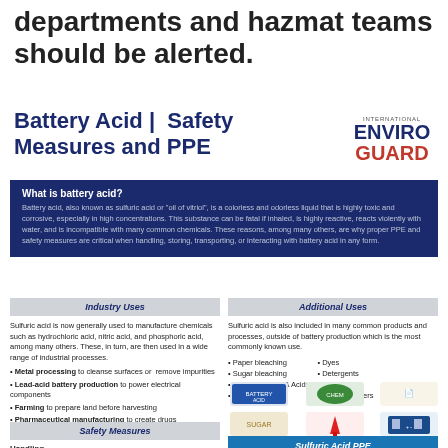departments and hazmat teams should be alerted.
Battery Acid | Safety Measures and PPE
[Figure (logo): International EnviroGuard logo]
What is battery acid?
Battery acid, also known as sulfuric acid or "oil of vitriol", is a colorless and odorless liquid that is highly toxic and corrosive, especially in high concentrations. This substance can be fatal if inhaled, is highly reactive, reacts violently with water, and is incompatible with many common chemicals. These reasons, among many others, are why proper PPE and safety measures are critical when handling, storing, transporting, or interacting with battery acid in any form.
Industry Uses
Sulfuric acid is now generally used to manufacture chemicals such as hydrochloric acid, nitric acid, and phosphoric acid, among many others. These, in turn, are then used in a wide range of industrial processes.
Metal processing to cleanse surfaces or remove impurities
Lead-acid battery production to power electrical components
Farming to prepare land before harvesting
Pharmaceutical manufacturing to create drugs
Additional Uses
Sulfuric acid is also included in many common products and processes, outside of battery production which is the most commonly known use.
Paper bleaching
Sugar bleaching
Inorganic Salts & Acids
Explosives
Dyes
Detergents
Fertilizers
Synthetic fibers
[Figure (illustration): Six product/use icons in two rows: battery acid container, green chemical jug, paper; sugar bag, fire extinguisher, car battery]
Safety Measures
Handling
Never reuse empty containers
Never add water to a corrosive
In dilute a corrosive, slowly add the corrosive to
Sulfuric Acid PPE